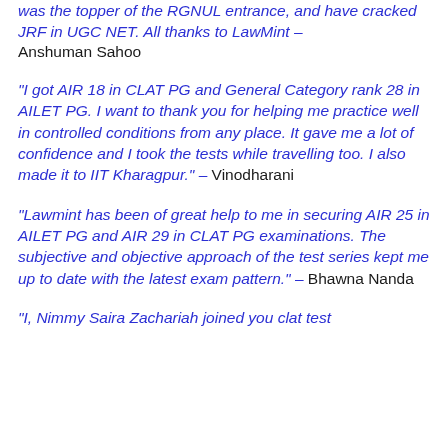was the topper of the RGNUL entrance, and have cracked JRF in UGC NET. All thanks to LawMint – Anshuman Sahoo
"I got AIR 18 in CLAT PG and General Category rank 28 in AILET PG. I want to thank you for helping me practice well in controlled conditions from any place. It gave me a lot of confidence and I took the tests while travelling too. I also made it to IIT Kharagpur." – Vinodharani
"Lawmint has been of great help to me in securing AIR 25 in AILET PG and AIR 29 in CLAT PG examinations. The subjective and objective approach of the test series kept me up to date with the latest exam pattern." – Bhawna Nanda
"I, Nimmy Saira Zachariah joined you clat test